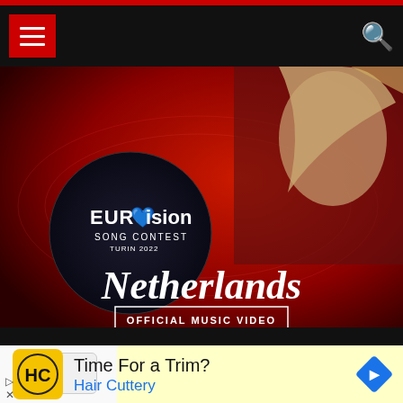[Figure (screenshot): Navigation bar with red hamburger menu button on left and search icon on right, on black background]
[Figure (screenshot): Eurovision Song Contest Turin 2022 Netherlands Official Music Video thumbnail showing a woman with blonde hair and the Eurovision logo on a red gradient background]
[Figure (screenshot): Advertisement section with yellow background collapse button and Hair Cuttery ad showing HC logo, 'Time For a Trim?' headline, 'Hair Cuttery' subtext in blue, and blue diamond arrow icon]